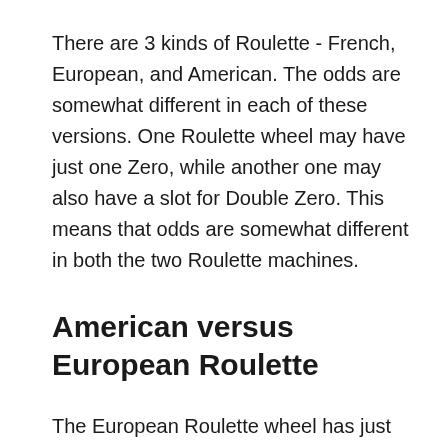There are 3 kinds of Roulette - French, European, and American. The odds are somewhat different in each of these versions. One Roulette wheel may have just one Zero, while another one may also have a slot for Double Zero. This means that odds are somewhat different in both the two Roulette machines.
American versus European Roulette
The European Roulette wheel has just one Zero and numbers from 1 to 36. As a result,